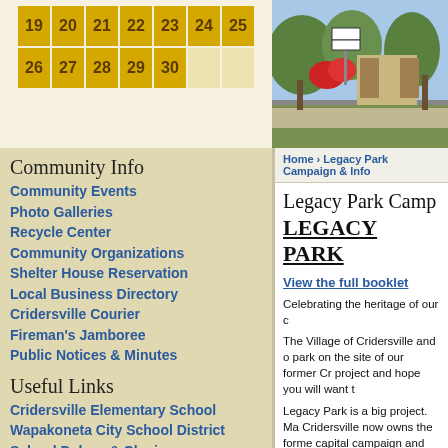[Figure (table-as-image): Calendar grid showing dates 19-30 with golden/yellow background cells]
[Figure (photo): Outdoor photo of a building with brick pillars, signs, trees and red flowers]
Community Info
Community Events
Photo Galleries
Recycle Center
Community Organizations
Shelter House Reservation
Local Business Directory
Cridersville Courier
Fireman's Jamboree
Public Notices & Minutes
Useful Links
Cridersville Elementary School
Wapakoneta City School District
School Delays & Closings
Home › Legacy Park Campaign & Info
Legacy Park Camp
LEGACY PARK
View the full booklet
Celebrating the heritage of our c
The Village of Cridersville and o park on the site of our former Cr project and hope you will want t
Legacy Park is a big project. Ma Cridersville now owns the forme capital campaign and constructi project. Plus, it will provide all o
This project needs the help of lo School alumni now living throug seek in kind-labor and materials reality.